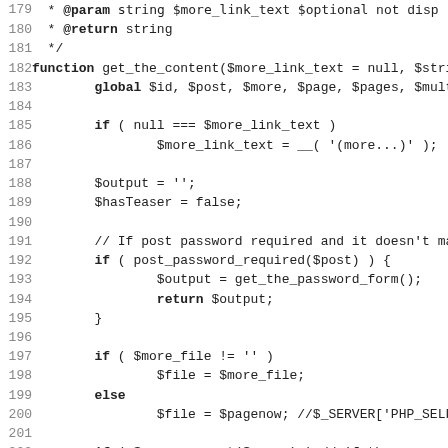[Figure (screenshot): PHP source code listing showing lines 179-211 of a WordPress function get_the_content, displayed in monospace font with line numbers on the left.]